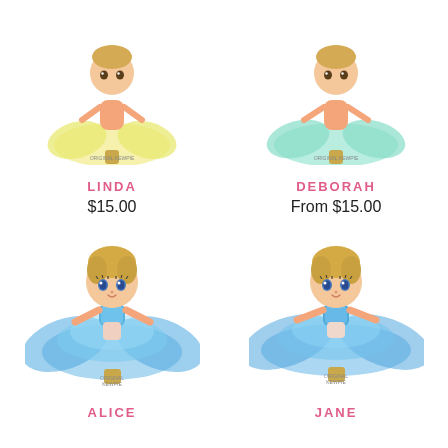[Figure (photo): Kewpie doll named LINDA in yellow tutu dress, partially cropped at top]
LINDA
$15.00
[Figure (photo): Kewpie doll named DEBORAH in teal/mint tutu dress, partially cropped at top]
DEBORAH
From $15.00
[Figure (photo): Kewpie doll named ALICE in blue tutu dress with sequin top, full view]
ALICE
From $15.00
[Figure (photo): Kewpie doll named JANE in blue tutu dress with sequin top, full view]
JANE
From $15.00